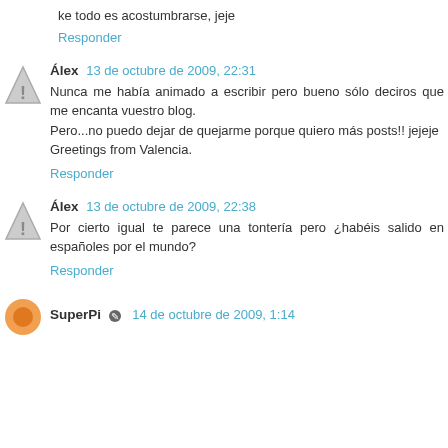ke todo es acostumbrarse, jeje
Responder
Álex  13 de octubre de 2009, 22:31
Nunca me había animado a escribir pero bueno sólo deciros que me encanta vuestro blog.
Pero...no puedo dejar de quejarme porque quiero más posts!! jejeje
Greetings from Valencia.
Responder
Álex  13 de octubre de 2009, 22:38
Por cierto igual te parece una tontería pero ¿habéis salido en españoles por el mundo?
Responder
SuperPi  14 de octubre de 2009, 1:14